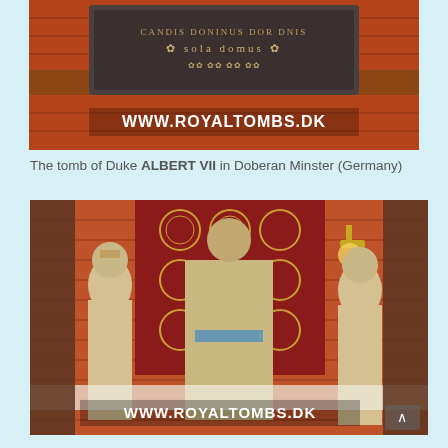[Figure (photo): Photograph of an ornate stone tomb with carved decorative inscription reading 'sola domus' and 'WWW.ROYALTOMBS.DK' watermark overlay, set in a church with red brick and decorative elements.]
The tomb of Duke ALBERT VII in Doberan Minster (Germany)
[Figure (photo): Photograph of three stone effigies/statues in a church interior. Center figure is an armored knight kneeling in prayer with a blue sash, flanked by two female figures in period Renaissance dress. Background shows ornate red and gold tapestry panels and brick walls. 'WWW.ROYALTOMBS.DK' watermark at bottom.]